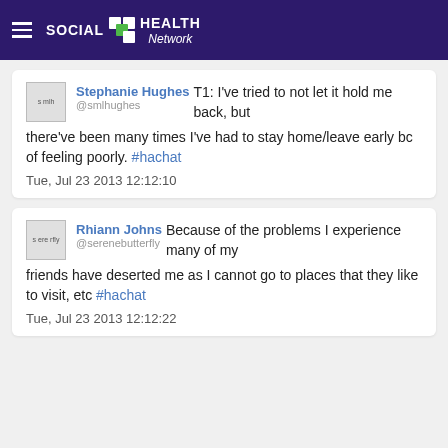SOCIAL HEALTH Network
Stephanie Hughes @smlhughes T1: I've tried to not let it hold me back, but there've been many times I've had to stay home/leave early bc of feeling poorly. #hachat
Tue, Jul 23 2013 12:12:10
Rhiann Johns @serenebutterfly Because of the problems I experience many of my friends have deserted me as I cannot go to places that they like to visit, etc #hachat
Tue, Jul 23 2013 12:12:22